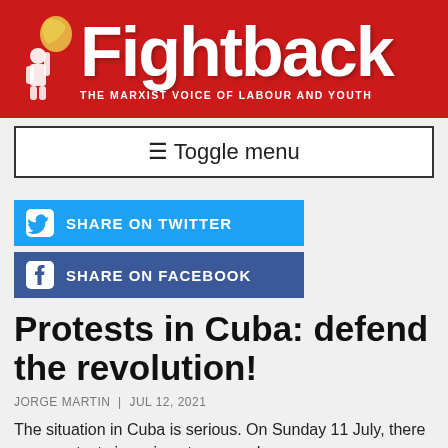[Figure (logo): Fightback logo — red banner background with illustrated figure holding a flag, white bold text 'Fightback' and subtitle 'THE MARXIST VOICE OF LABOUR AND YOUTH']
≡ Toggle menu
SHARE ON TWITTER
SHARE ON FACEBOOK
Protests in Cuba: defend the revolution!
JORGE MARTIN | JUL 12, 2021
The situation in Cuba is serious. On Sunday 11 July, there were protests in various towns and